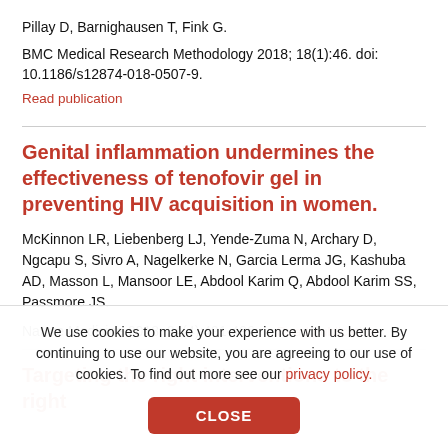Pillay D, Barnighausen T, Fink G.
BMC Medical Research Methodology 2018; 18(1):46. doi: 10.1186/s12874-018-0507-9.
Read publication
Genital inflammation undermines the effectiveness of tenofovir gel in preventing HIV acquisition in women.
McKinnon LR, Liebenberg LJ, Yende-Zuma N, Archary D, Ngcapu S, Sivro A, Nagelkerke N, Garcia Lerma JG, Kashuba AD, Masson L, Mansoor LE, Abdool Karim Q, Abdool Karim SS, Passmore JS.
Nature Medicine 2018; 24(4):491-496.   Read publication
Targeting the right interventions to the right people...
We use cookies to make your experience with us better. By continuing to use our website, you are agreeing to our use of cookies. To find out more see our privacy policy.